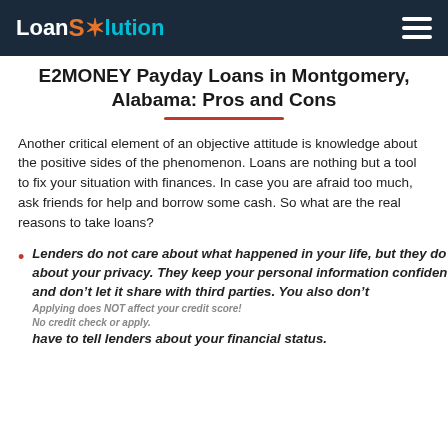LoanSolution
E2MONEY Payday Loans in Montgomery, Alabama: Pros and Cons
Another critical element of an objective attitude is knowledge about the positive sides of the phenomenon. Loans are nothing but a tool to fix your situation with finances. In case you are afraid too much, ask friends for help and borrow some cash. So what are the real reasons to take loans?
Lenders do not care about what happened in your life, but they do care about your privacy. They keep your personal information confidential and don't let it share with third parties. You also don't have to tell lenders about your financial status.
Applying does NOT affect your credit score!
No credit check or apply.